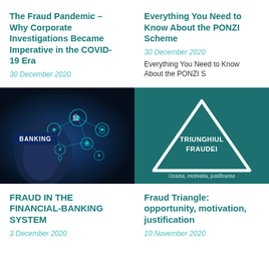The Fraud Pandemic – Why Corporate Investigations Became Imperative in the COVID-19 Era
30 December 2020
Everything You Need to Know About the PONZI Scheme
30 December 2020
Everything You Need to Know About the PONZI Scheme...
[Figure (photo): Hand touching a digital banking interface with BANKING text and icons for financial services on dark blue background]
[Figure (illustration): Fraud triangle diagram with text TRIUNGHIUL FRAUDEI and subtitle Ocazia, motivatia, justificarea on teal background]
FRAUD IN THE FINANCIAL-BANKING SYSTEM
3 December 2020
Fraud Triangle: opportunity, motivation, justification
10 November 2020